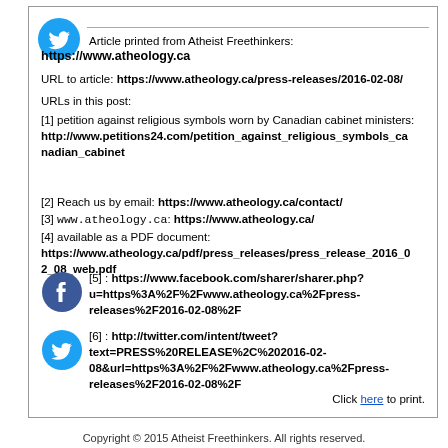[Figure (logo): Twitter bird icon (blue circle with white bird)]
Article printed from Atheist Freethinkers:
https://www.atheology.ca
URL to article: https://www.atheology.ca/press-releases/2016-02-08/
URLs in this post:
[1] petition against religious symbols worn by Canadian cabinet ministers:
http://www.petitions24.com/petition_against_religious_symbols_canadian_cabinet
[2] Reach us by email: https://www.atheology.ca/contact/
[3] www.atheology.ca: https://www.atheology.ca/
[4] available as a PDF document:
https://www.atheology.ca/pdf/press_releases/press_release_2016_02_08_web.pdf
[Figure (logo): Facebook icon (blue circle with white f)]
[5] : https://www.facebook.com/sharer/sharer.php?u=https%3A%2F%2Fwww.atheology.ca%2Fpress-releases%2F2016-02-08%2F
[Figure (logo): Twitter bird icon (blue circle with white bird)]
[6] : http://twitter.com/intent/tweet?text=PRESS%20RELEASE%2C%202016-02-08&url=https%3A%2F%2Fwww.atheology.ca%2Fpress-releases%2F2016-02-08%2F
Click here to print.
Copyright © 2015 Atheist Freethinkers. All rights reserved.